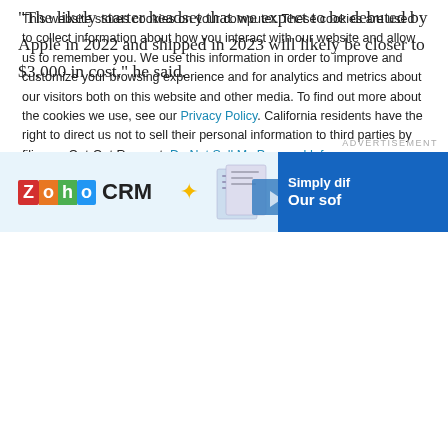“The likely starter headset that we expect to be debuted by Apple in 2022 and shipped in 2023 will likely be closer to $3,000 in cost,” he said.
[Figure (screenshot): Zoho CRM advertisement banner with logo, star icon, document graphics, and 'Simply dif...' text on blue background]
This website stores cookies on your computer. These cookies are used to collect information about how you interact with our website and allow us to remember you. We use this information in order to improve and customize your browsing experience and for analytics and metrics about our visitors both on this website and other media. To find out more about the cookies we use, see our Privacy Policy. California residents have the right to direct us not to sell their personal information to third parties by filing an Opt-Out Request: Do Not Sell My Personal Info.